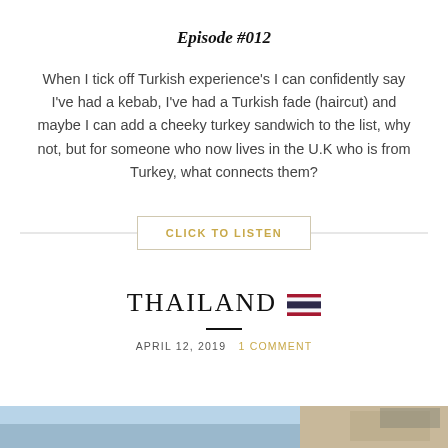Episode #012
When I tick off Turkish experience's I can confidently say I've had a kebab, I've had a Turkish fade (haircut) and maybe I can add a cheeky turkey sandwich to the list, why not, but for someone who now lives in the U.K who is from Turkey, what connects them?
CLICK TO LISTEN
THAILAND
APRIL 12, 2019   1 COMMENT
[Figure (photo): Partial photo of Thailand scenery at bottom of page]